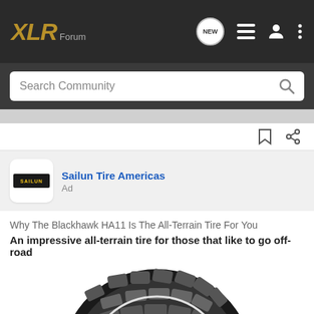XLR Forum
Search Community
Sailun Tire Americas
Ad
Why The Blackhawk HA11 Is The All-Terrain Tire For You
An impressive all-terrain tire for those that like to go off-road
[Figure (photo): Partial view of a Blackhawk HA11 all-terrain tire showing aggressive tread pattern]